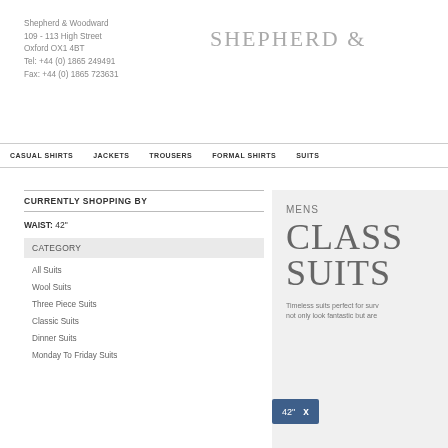Shepherd & Woodward
109 - 113 High Street
Oxford OX1 4BT
Tel: +44 (0) 1865 249491
Fax: +44 (0) 1865 723631
SHEPHERD &
CASUAL SHIRTS   JACKETS   TROUSERS   FORMAL SHIRTS   SUITS
CURRENTLY SHOPPING BY
WAIST: 42"
CATEGORY
All Suits
Wool Suits
Three Piece Suits
Classic Suits
Dinner Suits
Monday To Friday Suits
MENS
CLASS SUITS
Timeless suits perfect for surv not only look fantastic but are
42" x